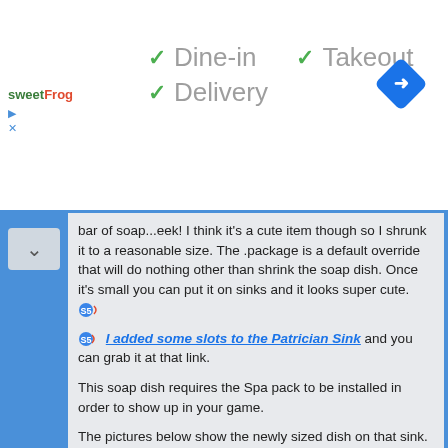[Figure (logo): sweetFrog logo in top left]
✓ Dine-in  ✓ Takeout
✓ Delivery
[Figure (illustration): Blue navigation diamond icon with right arrow in top right]
bar of soap...eek!  I think it's a cute item though so I shrunk it to a reasonable size.  The .package is a default override that will do nothing other than shrink the soap dish.  Once it's small you can put it on sinks and it looks super cute. [sims icon]
[sims icon] I added some slots to the Patrician Sink and you can grab it at that link.
This soap dish requires the Spa pack to be installed in order to show up in your game.
The pictures below show the newly sized dish on that sink.  I hope you will enjoy the soap dish and find it as useful as I do.  The download link is below the picture.
[Dropbox icon] Download
(Downloaded 1607 times)
#om #clutter #bathroom #default override #EA repair